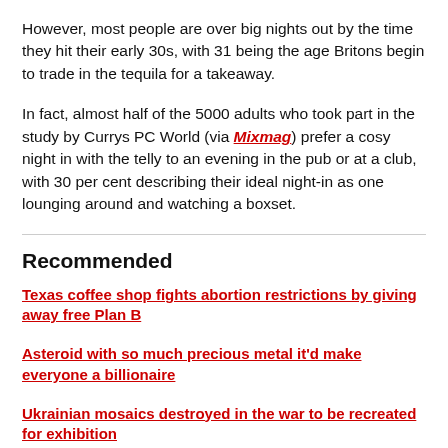However, most people are over big nights out by the time they hit their early 30s, with 31 being the age Britons begin to trade in the tequila for a takeaway.
In fact, almost half of the 5000 adults who took part in the study by Currys PC World (via Mixmag) prefer a cosy night in with the telly to an evening in the pub or at a club, with 30 per cent describing their ideal night-in as one lounging around and watching a boxset.
Recommended
Texas coffee shop fights abortion restrictions by giving away free Plan B
Asteroid with so much precious metal it'd make everyone a billionaire
Ukrainian mosaics destroyed in the war to be recreated for exhibition